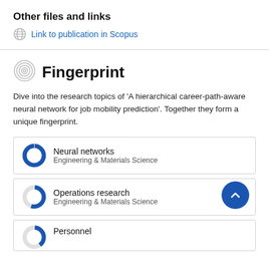Other files and links
Link to publication in Scopus
Fingerprint
Dive into the research topics of 'A hierarchical career-path-aware neural network for job mobility prediction'. Together they form a unique fingerprint.
Neural networks
Engineering & Materials Science
Operations research
Engineering & Materials Science
Personnel